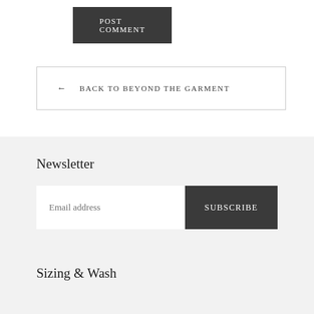POST COMMENT
← BACK TO BEYOND THE GARMENT
Newsletter
Email address
SUBSCRIBE
Sizing & Wash